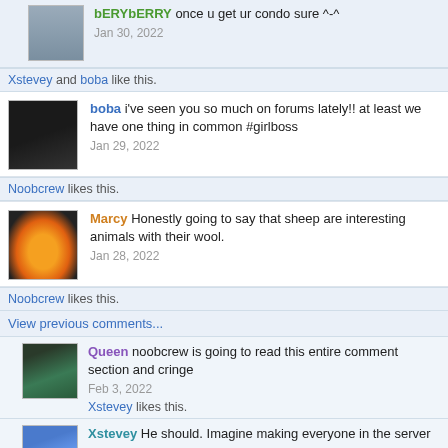bERYbERRY once u get ur condo sure ^-^
Jan 30, 2022
Xstevey and boba like this.
boba i've seen you so much on forums lately!! at least we have one thing in common #girlboss
Jan 29, 2022
Noobcrew likes this.
Marcy Honestly going to say that sheep are interesting animals with their wool.
Jan 28, 2022
Noobcrew likes this.
View previous comments...
Queen noobcrew is going to read this entire comment section and cringe
Feb 3, 2022
Xstevey likes this.
Xstevey He should. Imagine making everyone in the server think he's a damn sheep. Worst "prank" ever if that was his intention.
Feb 3, 2022